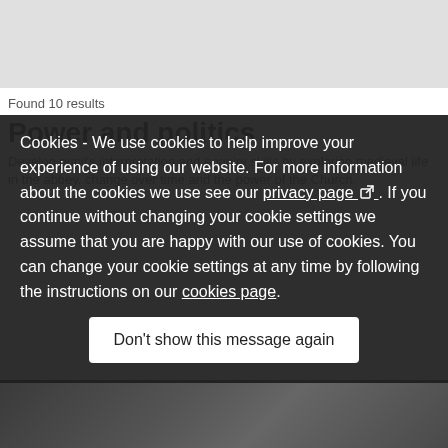Found 10 results
Power and politics
Develop pupil's interpretation and enquiry skills by exploring medieval life in the abbey, change over time and the power of the Church.
Cookies - We use cookies to help improve your experience of using our website. For more information about the cookies we use see our privacy page. If you continue without changing your cookie settings we assume that you are happy with our use of cookies. You can change your cookie settings at any time by following the instructions on our cookies page.
Don't show this message again
[Figure (photo): Bottom strip showing a partial image, dark toned]